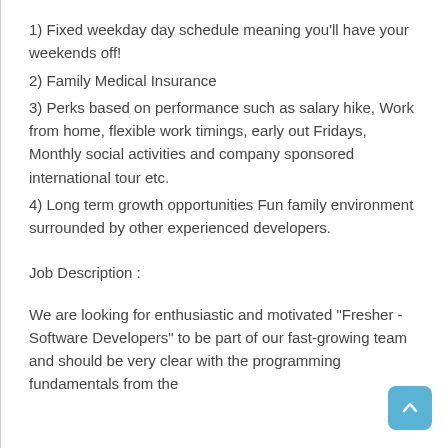1) Fixed weekday day schedule meaning you'll have your weekends off!
2) Family Medical Insurance
3) Perks based on performance such as salary hike, Work from home, flexible work timings, early out Fridays, Monthly social activities and company sponsored international tour etc.
4) Long term growth opportunities Fun family environment surrounded by other experienced developers.
Job Description :
We are looking for enthusiastic and motivated "Fresher - Software Developers" to be part of our fast-growing team and should be very clear with the programming fundamentals from the